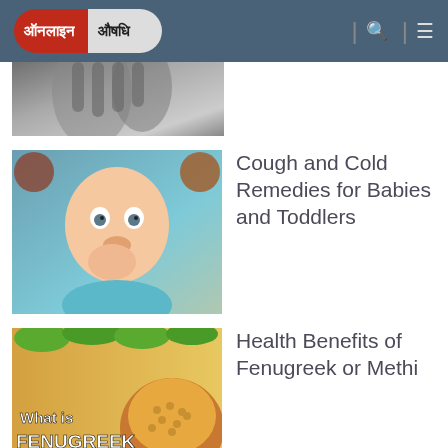Online Aushadhi
[Figure (photo): Partial grayscale image of a person with hands on face, cropped]
[Figure (photo): Baby or toddler touching nose, with herbs/spices in background]
Cough and Cold Remedies for Babies and Toddlers
[Figure (photo): Fenugreek seeds and green fenugreek leaves with text 'What is FENUGREEK']
Health Benefits of Fenugreek or Methi
[Figure (photo): Digital illustration of human figure with virus and immune system glowing in blue and purple]
Swine Flu (Swine Influenza A